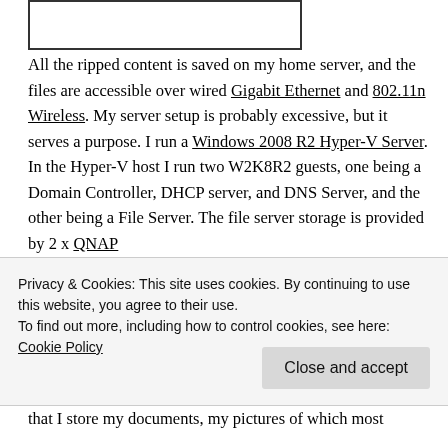[Figure (illustration): Top portion of an image (device/server photo) cropped at the top of the page, with a rectangular border visible]
All the ripped content is saved on my home server, and the files are accessible over wired Gigabit Ethernet and 802.11n Wireless. My server setup is probably excessive, but it serves a purpose. I run a Windows 2008 R2 Hyper-V Server. In the Hyper-V host I run two W2K8R2 guests, one being a Domain Controller, DHCP server, and DNS Server, and the other being a File Server. The file server storage is provided by 2 x QNAP
Privacy & Cookies: This site uses cookies. By continuing to use this website, you agree to their use.
To find out more, including how to control cookies, see here: Cookie Policy
that I store my documents, my pictures of which most